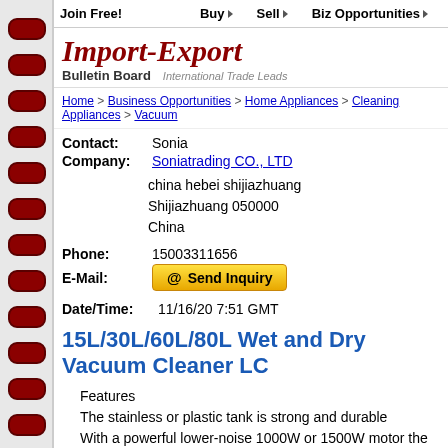Join Free! | Buy | Sell | Biz Opportunities
[Figure (logo): Import-Export Bulletin Board logo with world map watermark and tagline 'International Trade Leads']
Home > Business Opportunities > Home Appliances > Cleaning Appliances > Vacuum
Contact: Sonia
Company: Soniatrading CO., LTD
china hebei shijiazhuang
Shijiazhuang 050000
China
Phone: 15003311656
E-Mail: @ Send Inquiry
Date/Time: 11/16/20 7:51 GMT
15L/30L/60L/80L Wet and Dry Vacuum Cleaner LC
Features
The stainless or plastic tank is strong and durable
With a powerful lower-noise 1000W or 1500W motor the vacuum special strong suction.
New-style large wheel plate. It is stable and beautiful.